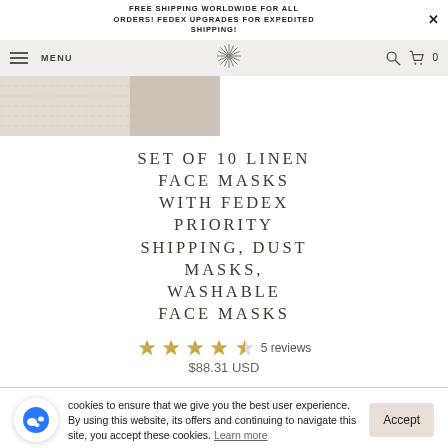FREE SHIPPING WORLDWIDE FOR ALL ORDERS! FEDEX UPGRADES FOR EXPEDITED SHIPPING!
[Figure (screenshot): Website navigation bar with hamburger menu, MENU text, decorative starburst logo in center, search icon, and shopping cart icon with 0 count]
[Figure (photo): Partial product photo showing linen fabric texture in tan/beige tones]
SET OF 10 LINEN FACE MASKS WITH FEDEX PRIORITY SHIPPING, DUST MASKS, WASHABLE FACE MASKS
[Figure (other): 4.5 out of 5 stars rating with 5 reviews]
$88.31 USD
cookies to ensure that we give you the best user experience. By using this website, its offers and continuing to navigate this site, you accept these cookies. Learn more
Accept